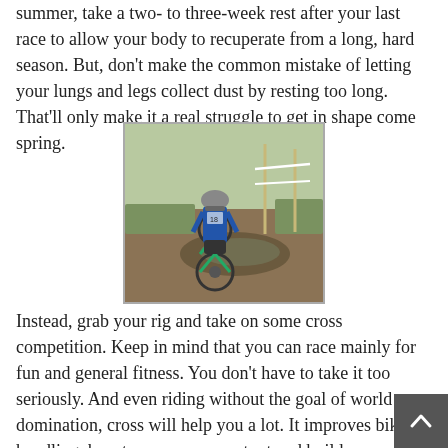summer, take a two- to three-week rest after your last race to allow your body to recuperate from a long, hard season. But, don't make the common mistake of letting your lungs and legs collect dust by resting too long. That'll only make it a real struggle to get in shape come spring.
[Figure (photo): A cyclist riding a bicycle through a muddy cross-country course, viewed from behind, with a field and tape barriers in the background.]
Instead, grab your rig and take on some cross competition. Keep in mind that you can race mainly for fun and general fitness. You don't have to take it too seriously. And even riding without the goal of world domination, cross will help you a lot. It improves bike handling, boosts your power output and builds your cardiovascular system. You'll be amazed how great you feel and how much more confidence you have on your bike when the race season